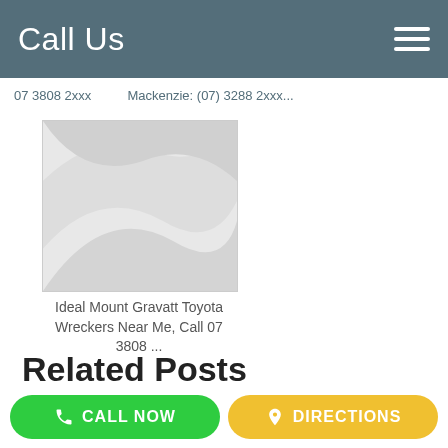Call Us
07 3808 2xxx ... Mackenzie (07) 3288 2xxx...
[Figure (illustration): Placeholder image with light grey swoosh/wave pattern on a white/grey background]
Ideal Mount Gravatt Toyota Wreckers Near Me, Call 07 3808 ...
Related Posts
Leading Hyundai Spare Components Wreckers Near Me Holland ...